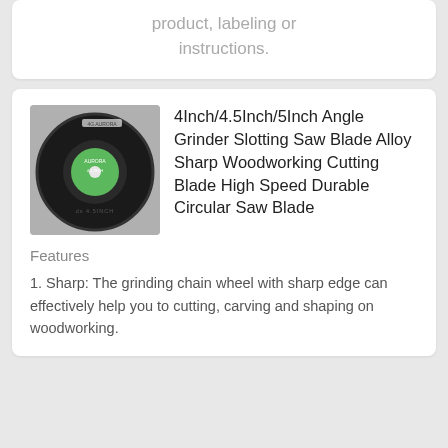product, labeling or instructions.
[Figure (photo): Circular saw blade / angle grinder slotting disc, black with green center label, photographed on white background]
4Inch/4.5Inch/5Inch Angle Grinder Slotting Saw Blade Alloy Sharp Woodworking Cutting Blade High Speed Durable Circular Saw Blade
Features
1. Sharp: The grinding chain wheel with sharp edge can effectively help you to cutting, carving and shaping on woodworking.